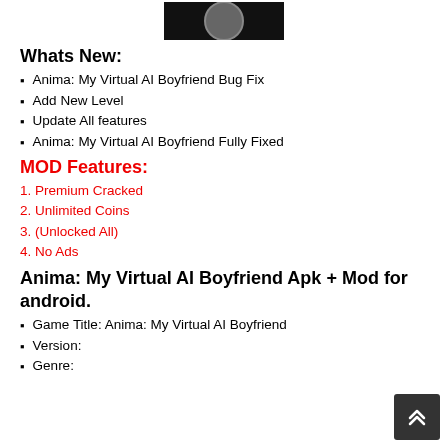[Figure (photo): App character portrait photo — person in dark background, small cropped image at top center]
Whats New:
Anima: My Virtual AI Boyfriend Bug Fix
Add New Level
Update All features
Anima: My Virtual AI Boyfriend Fully Fixed
MOD Features:
1. Premium Cracked
2. Unlimited Coins
3. (Unlocked All)
4. No Ads
Anima: My Virtual AI Boyfriend Apk + Mod for android.
Game Title: Anima: My Virtual AI Boyfriend
Version:
Genre: